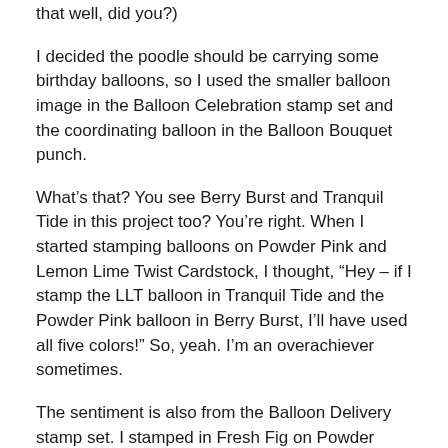that well, did you?)
I decided the poodle should be carrying some birthday balloons, so I used the smaller balloon image in the Balloon Celebration stamp set and the coordinating balloon in the Balloon Bouquet punch.
What’s that? You see Berry Burst and Tranquil Tide in this project too? You’re right. When I started stamping balloons on Powder Pink and Lemon Lime Twist Cardstock, I thought, “Hey – if I stamp the LLT balloon in Tranquil Tide and the Powder Pink balloon in Berry Burst, I’ll have used all five colors!” So, yeah. I’m an overachiever sometimes.
The sentiment is also from the Balloon Delivery stamp set. I stamped in Fresh Fig on Powder Pink cardstock. I have the Triple Banner Punch, but this time I just notched the banner by hand with Paper Snips.